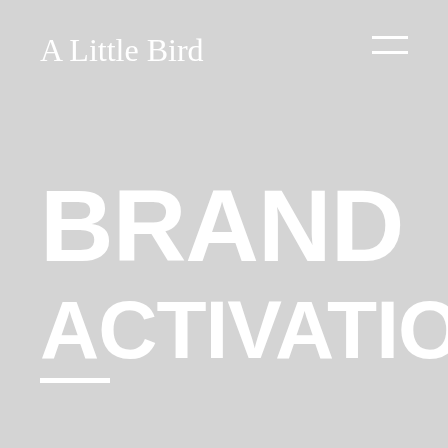A Little Bird
BRAND
ACTIVATION
—